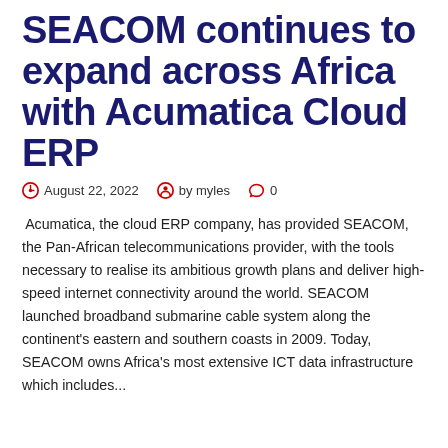SEACOM continues to expand across Africa with Acumatica Cloud ERP
August 22, 2022   by myles   0
Acumatica, the cloud ERP company, has provided SEACOM, the Pan-African telecommunications provider, with the tools necessary to realise its ambitious growth plans and deliver high-speed internet connectivity around the world. SEACOM launched broadband submarine cable system along the continent's eastern and southern coasts in 2009. Today, SEACOM owns Africa's most extensive ICT data infrastructure which includes...